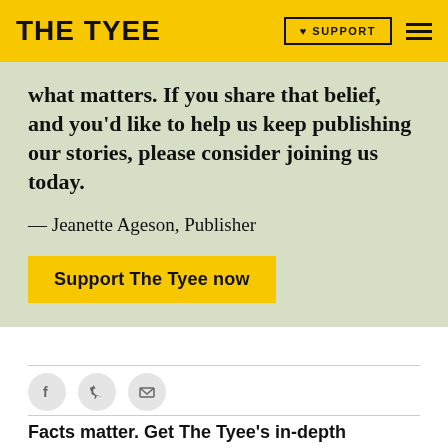THE TYEE | SUPPORT | menu
what matters. If you share that belief, and you'd like to help us keep publishing our stories, please consider joining us today.
— Jeanette Ageson, Publisher
Support The Tyee now
[Figure (infographic): Social share icons: Facebook, Twitter, Email]
Facts matter. Get The Tyee's in-depth journalism delivered to your inbox for free